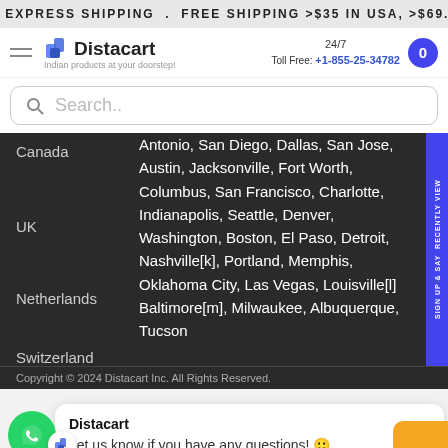EXPRESS SHIPPING . FREE SHIPPING >$35 IN USA, >$69.99 I
[Figure (logo): Distacart logo with shopping bag icon and tagline 'Indian products at your doorstep']
24/7 Toll Free: +1-855-25-34782
Search..
Canada
UK
Netherlands
Switzerland
Antonio, San Diego, Dallas, San Jose, Austin, Jacksonville, Fort Worth, Columbus, San Francisco, Charlotte, Indianapolis, Seattle, Denver, Washington, Boston, El Paso, Detroit, Nashville[k], Portland, Memphis, Oklahoma City, Las Vegas, Louisville[l] Baltimore[m], Milwaukee, Albuquerque, Tucson
sign up & say RECENTLY VIEW
Copyright © 2024 Distacart Inc. All Rights Reserved.
Distacart
Let us know if you have any questions! 😊